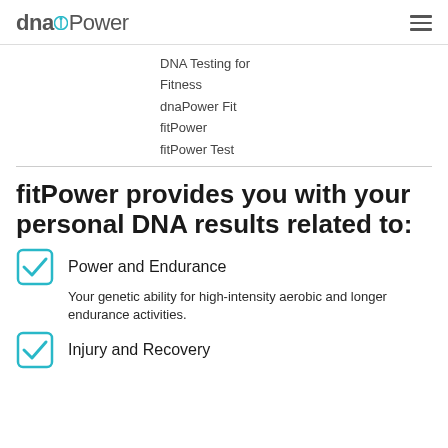dnaPower
DNA Testing for Fitness
dnaPower Fit
fitPower
fitPower Test
fitPower provides you with your personal DNA results related to:
Power and Endurance
Your genetic ability for high-intensity aerobic and longer endurance activities.
Injury and Recovery